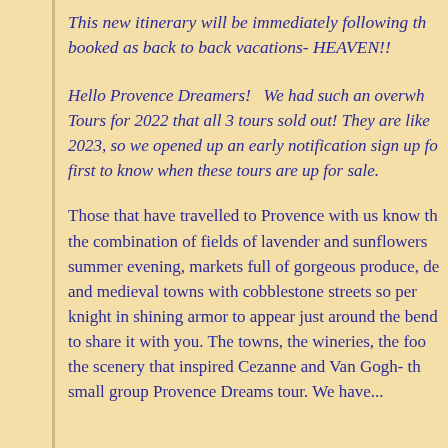This new itinerary will be immediately following th booked as back to back vacations- HEAVEN!!
Hello Provence Dreamers!  We had such an overwh Tours for 2022 that all 3 tours sold out! They are like 2023, so we opened up an early notification sign up fo first to know when these tours are up for sale.
Those that have travelled to Provence with us know th the combination of fields of lavender and sunflowers summer evening, markets full of gorgeous produce, de and medieval towns with cobblestone streets so per knight in shining armor to appear just around the bend to share it with you. The towns, the wineries, the foo the scenery that inspired Cezanne and Van Gogh- th small group Provence Dreams tour. We have...